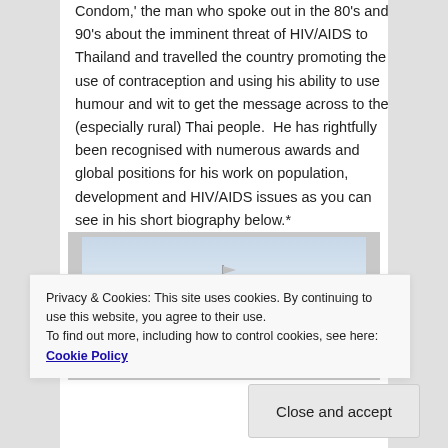Condom,' the man who spoke out in the 80's and 90's about the imminent threat of HIV/AIDS to Thailand and travelled the country promoting the use of contraception and using his ability to use humour and wit to get the message across to the (especially rural) Thai people.  He has rightfully been recognised with numerous awards and global positions for his work on population, development and HIV/AIDS issues as you can see in his short biography below.*
[Figure (photo): Photograph of a red brick building with a tower and flag, against a cloudy sky.]
Privacy & Cookies: This site uses cookies. By continuing to use this website, you agree to their use.
To find out more, including how to control cookies, see here: Cookie Policy